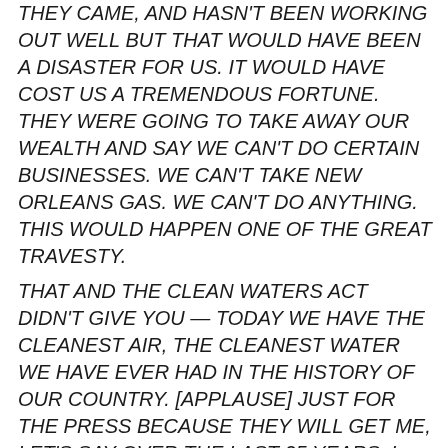THEY CAME, AND HASN'T BEEN WORKING OUT WELL BUT THAT WOULD HAVE BEEN A DISASTER FOR US. IT WOULD HAVE COST US A TREMENDOUS FORTUNE. THEY WERE GOING TO TAKE AWAY OUR WEALTH AND SAY WE CAN'T DO CERTAIN BUSINESSES. WE CAN'T TAKE NEW ORLEANS GAS. WE CAN'T DO ANYTHING. THIS WOULD HAPPEN ONE OF THE GREAT TRAVESTY.
THAT AND THE CLEAN WATERS ACT DIDN'T GIVE YOU — TODAY WE HAVE THE CLEANEST AIR, THE CLEANEST WATER WE HAVE EVER HAD IN THE HISTORY OF OUR COUNTRY. [APPLAUSE] JUST FOR THE PRESS BECAUSE THEY WILL GET ME, LET'S SAY OVER THE LAST 25 YEARS. I WOULD SAY THE FIRST FEW YEARS THEY HAD CLEANER AIR AND WATER BECAUSE THERE WAS NOBODY HERE. I HAVE TO BE